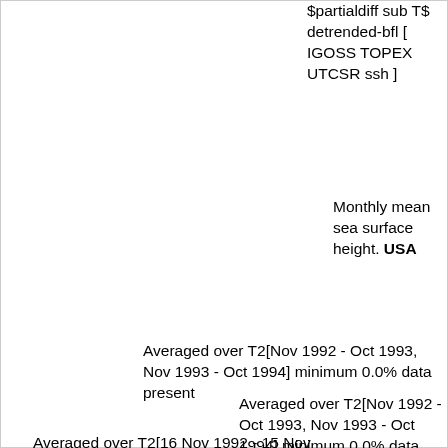$partialdiff sub T$ detrended-bfl [ IGOSS TOPEX UTCSR ssh ]
Monthly mean sea surface height. USA
Averaged over T2[Nov 1992 - Oct 1993, Nov 1993 - Oct 1994] minimum 0.0% data present
Averaged over T2[Nov 1992 - Oct 1993, Nov 1993 - Oct 1994] minimum 0.0% data present
Averaged over T2[16 Nov 1992 - 15 Nov